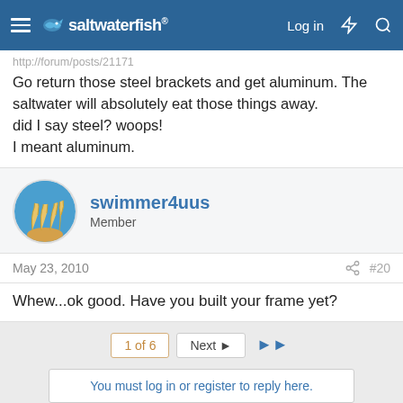saltwaterfish - Log in
http://forum/posts/21171
Go return those steel brackets and get aluminum. The saltwater will absolutely eat those things away.
did I say steel? woops!
I meant aluminum.
swimmer4uus
Member
May 23, 2010  #20
Whew...ok good. Have you built your frame yet?
1 of 6  Next ▶  ▶▶
You must log in or register to reply here.
Share: